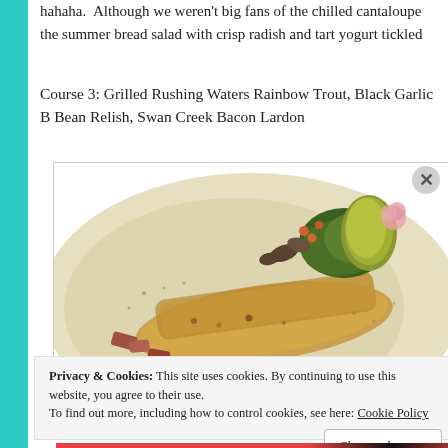hahaha. Although we weren't big fans of the chilled cantaloupe the summer bread salad with crisp radish and tart yogurt tickled
Course 3: Grilled Rushing Waters Rainbow Trout, Black Garlic Bean Relish, Swan Creek Bacon Lardon
[Figure (photo): A plated dish of grilled rainbow trout with garnishes on a white plate, including greens, vegetables, and bacon lardon]
Privacy & Cookies: This site uses cookies. By continuing to use this website, you agree to their use.
To find out more, including how to control cookies, see here: Cookie Policy
Close and accept